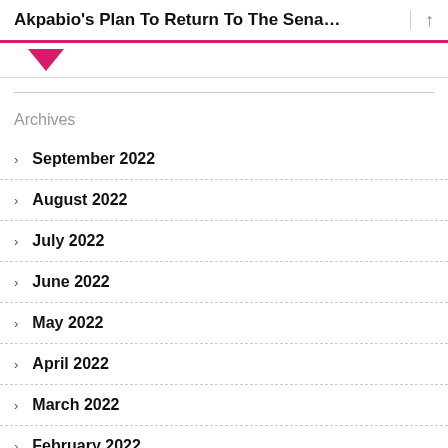Akpabio's Plan To Return To The Sena...
Archives
September 2022
August 2022
July 2022
June 2022
May 2022
April 2022
March 2022
February 2022